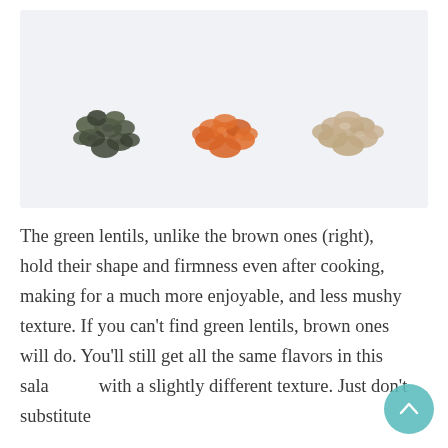[Figure (photo): Three groups of lentils on a white background: dark green/black lentils on the left, orange/red lentils in the middle, and beige/brown lentils on the right.]
The green lentils, unlike the brown ones (right), hold their shape and firmness even after cooking, making for a much more enjoyable, and less mushy texture. If you can't find green lentils, brown ones will do. You'll still get all the same flavors in this salad, just with a slightly different texture. Just don't substitute